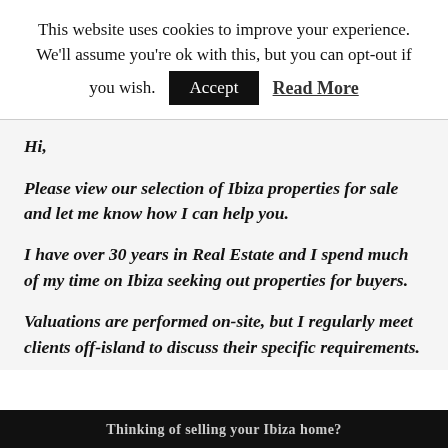This website uses cookies to improve your experience. We'll assume you're ok with this, but you can opt-out if you wish. Accept Read More
Hi,
Please view our selection of Ibiza properties for sale and let me know how I can help you.
I have over 30 years in Real Estate and I spend much of my time on Ibiza seeking out properties for buyers.
Valuations are performed on-site, but I regularly meet clients off-island to discuss their specific requirements.
Thinking of selling your Ibiza home?